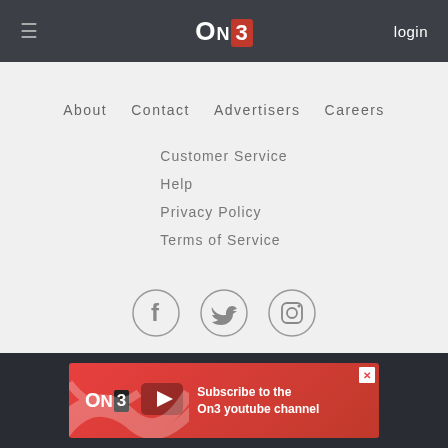≡  ON3  login
About
Contact
Advertisers
Careers
Customer Service
Help
Privacy Policy
Terms of Service
[Figure (illustration): Social media icons: Facebook (f), Twitter (bird), Instagram (camera) — each in a circle outline]
© 2022 On3 Media, LLP. All rights reserved. On3 is a registered trademark of On3 Media, LLP.
[Figure (infographic): Red advertisement banner with ON3 logo and YouTube play button icon. Text: Subscribe to the On3 youtube channel]